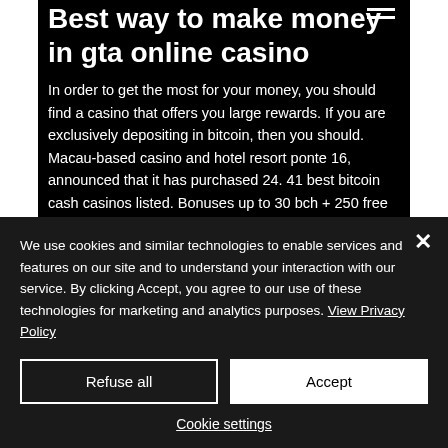Best way to make money in gta online casino
In order to get the most for your money, you should find a casino that offers you large rewards. If you are exclusively depositing in bitcoin, then you should. Macau-based casino and hotel resort ponte 16, announced that it has purchased 24. 41 best bitcoin cash casinos listed. Bonuses up to 30 bch + 250 free spins at crypto casinos bitstarz
We use cookies and similar technologies to enable services and features on our site and to understand your interaction with our service. By clicking Accept, you agree to our use of these technologies for marketing and analytics purposes. View Privacy Policy
Refuse all
Accept
Cookie settings